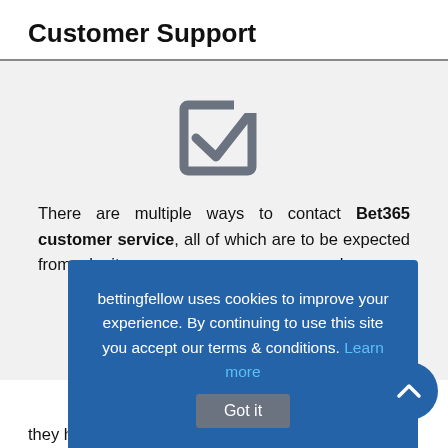Customer Support
[Figure (illustration): Checkbox icon with a checkmark, gray color, on a light gray background]
There are multiple ways to contact Bet365 customer service, all of which are to be expected from a legit ... phone ... urse. ... of ... thing ... mers
bettingfellow uses cookies to improve your experience. By continuing to use this site you accept our terms & conditions. Learn more  Got it
they have one of the best bookmaker help sections